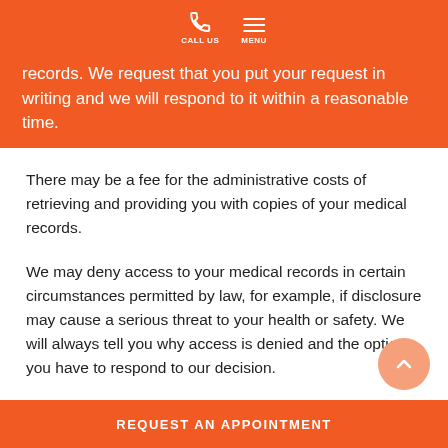records. We request that you put your request in writing and we will respond to it within a reasonable time.
There may be a fee for the administrative costs of retrieving and providing you with copies of your medical records.
We may deny access to your medical records in certain circumstances permitted by law, for example, if disclosure may cause a serious threat to your health or safety. We will always tell you why access is denied and the options you have to respond to our decision.
COMPLAINTS
REQUEST AN APPOINTMENT